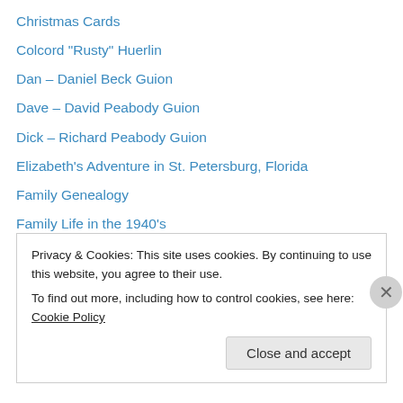Christmas Cards
Colcord "Rusty" Huerlin
Dan – Daniel Beck Guion
Dave – David Peabody Guion
Dick – Richard Peabody Guion
Elizabeth's Adventure in St. Petersburg, Florida
Family Genealogy
Family Life in the 1940's
Friends
Greatest Generation
Guest Posts and Re-Posts
Guions
Lad – Alfred Peabody Guion
Privacy & Cookies: This site uses cookies. By continuing to use this website, you agree to their use.
To find out more, including how to control cookies, see here: Cookie Policy
Close and accept